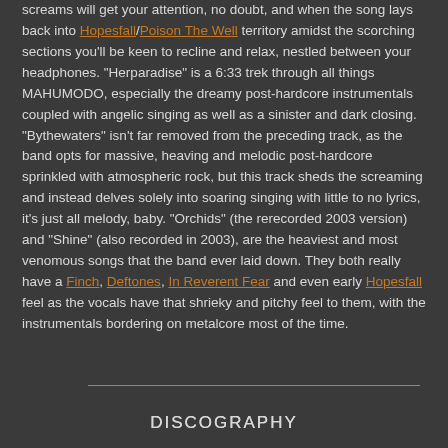screams will get your attention, no doubt, and when the song lays back into Hopesfall/Poison The Well territory amidst the scorching sections you'll be keen to recline and relax, nestled between your headphones. "Herparadise" is a 6:33 trek through all things MAHUMODO, especially the dreamy post-hardcore instrumentals coupled with angelic singing as well as a sinister and dark closing. "Bythewaters" isn't far removed from the preceding track, as the band opts for massive, heaving and melodic post-hardcore sprinkled with atmospheric rock, but this track sheds the screaming and instead delves solely into soaring singing with little to no lyrics, it's just all melody, baby. "Orchids" (the rerecorded 2003 version) and "Shine" (also recorded in 2003), are the heaviest and most venomous songs that the band ever laid down. They both really have a Finch, Deftones, In Reverent Fear and even early Hopesfall feel as the vocals have that shrieky and pitchy feel to them, with the instrumentals bordering on metalcore most of the time.
DISCOGRAPHY